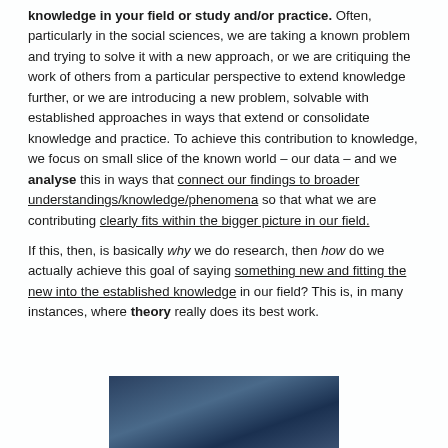knowledge in your field or study and/or practice. Often, particularly in the social sciences, we are taking a known problem and trying to solve it with a new approach, or we are critiquing the work of others from a particular perspective to extend knowledge further, or we are introducing a new problem, solvable with established approaches in ways that extend or consolidate knowledge and practice. To achieve this contribution to knowledge, we focus on small slice of the known world – our data – and we analyse this in ways that connect our findings to broader understandings/knowledge/phenomena so that what we are contributing clearly fits within the bigger picture in our field.

If this, then, is basically why we do research, then how do we actually achieve this goal of saying something new and fitting the new into the established knowledge in our field? This is, in many instances, where theory really does its best work.
[Figure (photo): A partial photo of a person, appearing at the bottom of the page, with a dark blue/teal background.]